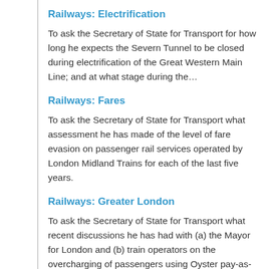Railways: Electrification
To ask the Secretary of State for Transport for how long he expects the Severn Tunnel to be closed during electrification of the Great Western Main Line; and at what stage during the…
Railways: Fares
To ask the Secretary of State for Transport what assessment he has made of the level of fare evasion on passenger rail services operated by London Midland Trains for each of the last five years.
Railways: Greater London
To ask the Secretary of State for Transport what recent discussions he has had with (a) the Mayor for London and (b) train operators on the overcharging of passengers using Oyster pay-as-you-go…